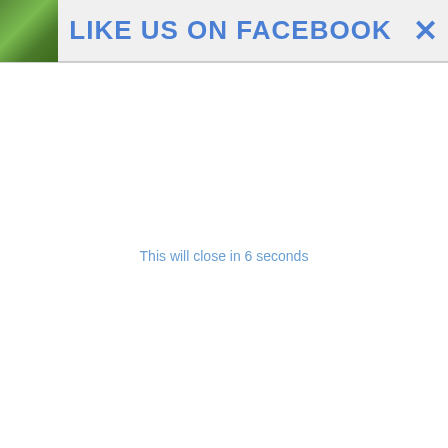LIKE US ON FACEBOOK ✕
This will close in 6 seconds